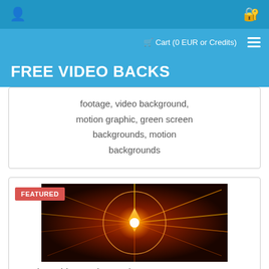User icon | Login icon | Cart (0 EUR or Credits) | Menu
FREE VIDEO BACKS
footage, video background, motion graphic, green screen backgrounds, motion backgrounds
[Figure (photo): Featured orange glowing abstract motion background with star burst and circular light streaks]
Premium Video Background